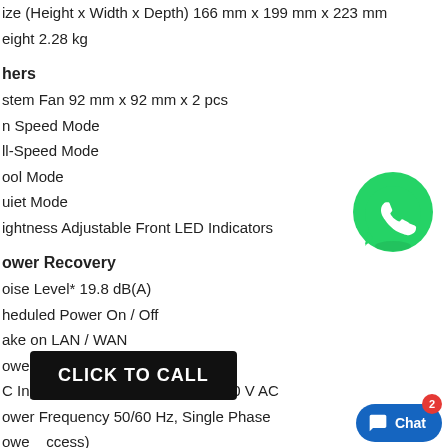ize (Height x Width x Depth) 166 mm x 199 mm x 223 mm
eight 2.28 kg
hers
stem Fan 92 mm x 92 mm x 2 pcs
n Speed Mode
ll-Speed Mode
ool Mode
uiet Mode
ightness Adjustable Front LED Indicators
ower Recovery
oise Level* 19.8 dB(A)
heduled Power On / Off
ake on LAN / WAN
ower Supply Unit / Adapter 100 W
C Input Power Voltage 100 V to 240 V AC
ower Frequency 50/60 Hz, Single Phase
owe...ccess)
.6
itish Thermal Unit 98.27 BTU/hr (Access)
[Figure (logo): WhatsApp green logo icon]
[Figure (other): CLICK TO CALL black button overlay]
[Figure (other): Chat blue button with badge showing 2]